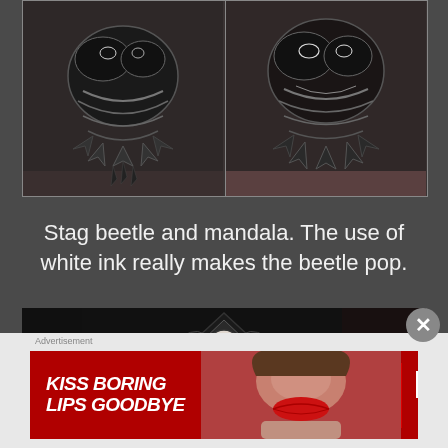[Figure (photo): Two side-by-side close-up photos of a stag beetle and mandala tattoo on skin, rendered in black and grey ink. The left panel shows the full composition; the right panel shows a slightly different crop. White ink highlights make the beetle stand out against the dark mandala design.]
Stag beetle and mandala. The use of white ink really makes the beetle pop.
[Figure (photo): Partial photo of a mandala tattoo on a person's body, showing a geometric black and white mandala design. The image is cropped, showing the upper portion of the tattoo.]
[Figure (photo): Advertisement banner for Macy's cosmetics. Red background with text 'KISS BORING LIPS GOODBYE', a photo of a woman with red lipstick, 'SHOP NOW' button, and Macy's star logo.]